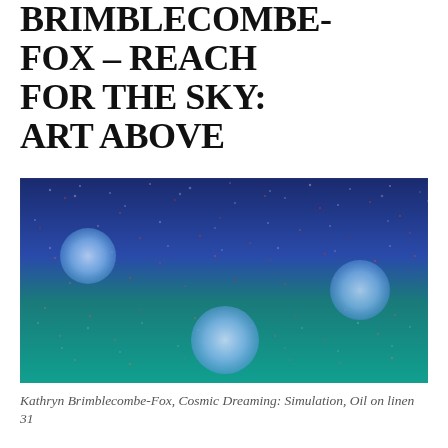BRIMBLECOMBE-FOX – REACH FOR THE SKY: ART ABOVE
[Figure (illustration): Painting by Kathryn Brimblecombe-Fox titled 'Cosmic Dreaming: Simulation', oil on linen. A richly textured pointillist-style painting transitioning from dark blue at the top to teal/turquoise at the bottom, with scattered red and orange flecks throughout. Three soft pale-blue circular orbs float across the canvas — one upper-left, one lower-centre, one mid-right.]
Kathryn Brimblecombe-Fox, Cosmic Dreaming: Simulation, Oil on linen 31